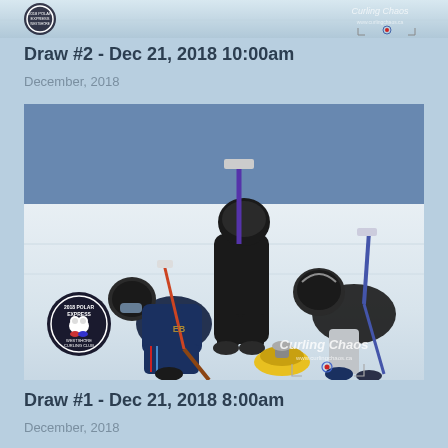[Figure (photo): Partial top of a curling photo showing the ice surface, partially cropped at top of page. Watermark and logo visible in bottom right corner.]
Draw #2 - Dec 21, 2018 10:00am
December, 2018
[Figure (photo): Three young curlers on ice, wearing black helmets and dark jackets, sweeping a curling stone. A yellow curling stone is visible. The 2018 Polar Express Westshore Curling Club logo is in the bottom left. A watermark reading Curling Chaos with website www.curlingchaos.ca and camera icon appears in the bottom right.]
Draw #1 - Dec 21, 2018 8:00am
December, 2018